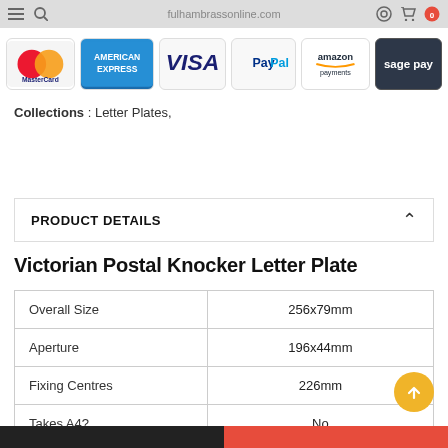fulhambrassonline.com
[Figure (logo): Payment method logos: MasterCard, American Express, VISA, PayPal, amazon payments, sage pay]
Collections : Letter Plates,
PRODUCT DETAILS
Victorian Postal Knocker Letter Plate
|  |  |
| --- | --- |
| Overall Size | 256x79mm |
| Aperture | 196x44mm |
| Fixing Centres | 226mm |
| Takes A4? | No |